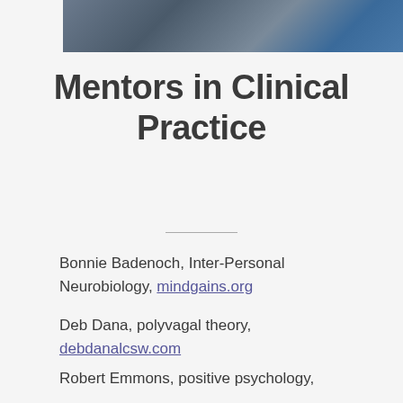[Figure (photo): Photo of people sitting outdoors, partially cropped at top of page]
Mentors in Clinical Practice
Bonnie Badenoch, Inter-Personal Neurobiology, mindgains.org
Deb Dana, polyvagal theory, debdanalcsw.com
Robert Emmons, positive psychology,